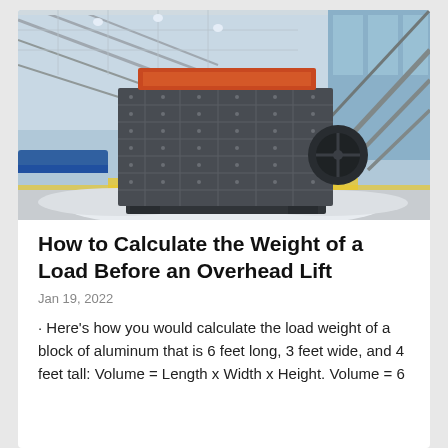[Figure (photo): Large industrial impact crusher / jaw crusher machine sitting in an industrial facility or warehouse. The machine is large, dark gray/charcoal colored with a grid of bolted panels on its face and an orange/red hopper opening at the top. White crushed rock material is visible at the base. The background shows structural steel framework, blue conveyor belts, and large windows.]
How to Calculate the Weight of a Load Before an Overhead Lift
Jan 19, 2022
· Here's how you would calculate the load weight of a block of aluminum that is 6 feet long, 3 feet wide, and 4 feet tall: Volume = Length x Width x Height. Volume = 6